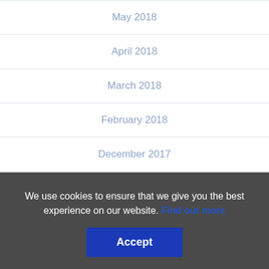May 2018
April 2018
March 2018
February 2018
December 2017
November 2017
October 2017
September 2017
June 2017
We use cookies to ensure that we give you the best experience on our website. Find out more
Accept